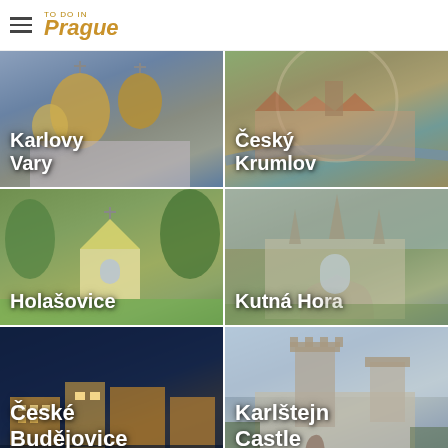TO DO IN Prague
[Figure (photo): Karlovy Vary church with golden onion domes]
[Figure (photo): Aerial view of Český Krumlov old town with river]
[Figure (photo): Holašovice village with chapel and green trees]
[Figure (photo): Kutná Hora cathedral Gothic architecture]
[Figure (photo): České Budějovice illuminated at night]
[Figure (photo): Karlštejn Castle stone towers]